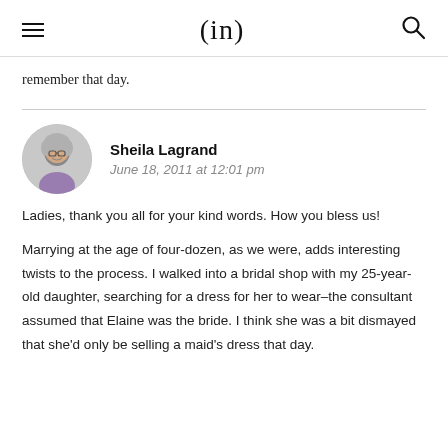(in)
remember that day.
Sheila Lagrand
June 18, 2011 at 12:01 pm
Ladies, thank you all for your kind words. How you bless us!

Marrying at the age of four-dozen, as we were, adds interesting twists to the process. I walked into a bridal shop with my 25-year-old daughter, searching for a dress for her to wear–the consultant assumed that Elaine was the bride. I think she was a bit dismayed that she'd only be selling a maid's dress that day.